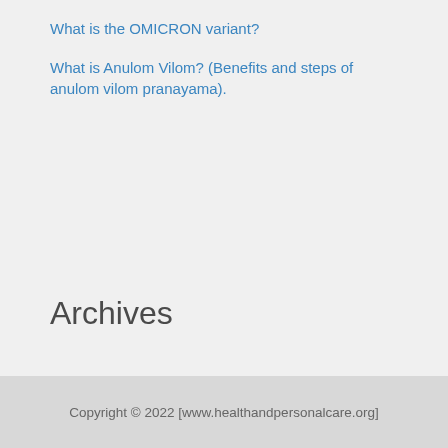What is the OMICRON variant?
What is Anulom Vilom? (Benefits and steps of anulom vilom pranayama).
Archives
Copyright © 2022 [www.healthandpersonalcare.org]